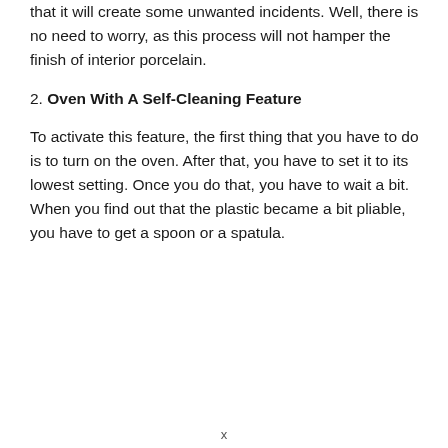that it will create some unwanted incidents. Well, there is no need to worry, as this process will not hamper the finish of interior porcelain.
2. Oven With A Self-Cleaning Feature
To activate this feature, the first thing that you have to do is to turn on the oven. After that, you have to set it to its lowest setting. Once you do that, you have to wait a bit. When you find out that the plastic became a bit pliable, you have to get a spoon or a spatula.
x